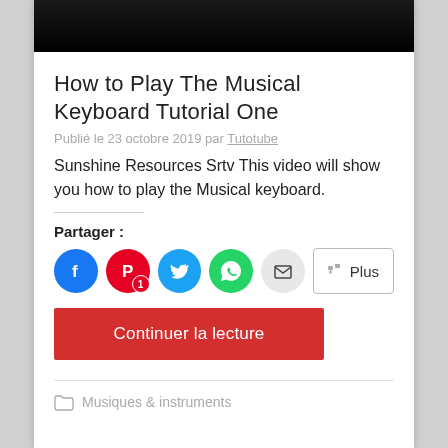[Figure (screenshot): Dark video thumbnail at the top of the page]
How to Play The Musical Keyboard Tutorial One
Publié le 23 octobre 2019 par Tutotube
Sunshine Resources Srtv This video will show you how to play the Musical keyboard.
Partager :
[Figure (infographic): Social share buttons: Facebook, Pinterest (1), Twitter, WhatsApp, Email, Plus]
Continuer la lecture
Musiques & instruments